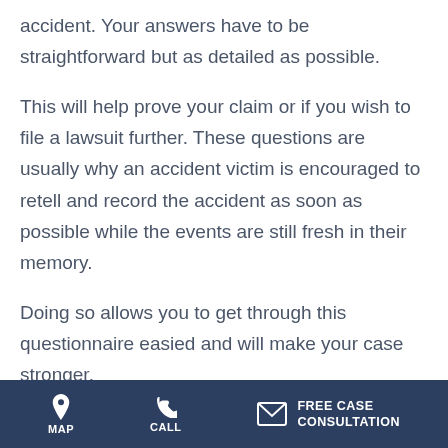accident. Your answers have to be straightforward but as detailed as possible.
This will help prove your claim or if you wish to file a lawsuit further. These questions are usually why an accident victim is encouraged to retell and record the accident as soon as possible while the events are still fresh in their memory.
Doing so allows you to get through this questionnaire easied and will make your case stronger.
When did the accident happen?
MAP | CALL | FREE CASE CONSULTATION